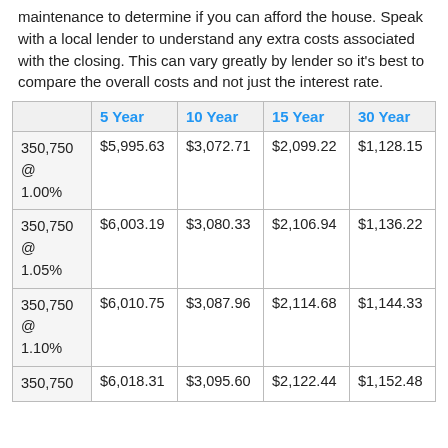maintenance to determine if you can afford the house. Speak with a local lender to understand any extra costs associated with the closing. This can vary greatly by lender so it's best to compare the overall costs and not just the interest rate.
|  | 5 Year | 10 Year | 15 Year | 30 Year |
| --- | --- | --- | --- | --- |
| 350,750 @ 1.00% | $5,995.63 | $3,072.71 | $2,099.22 | $1,128.15 |
| 350,750 @ 1.05% | $6,003.19 | $3,080.33 | $2,106.94 | $1,136.22 |
| 350,750 @ 1.10% | $6,010.75 | $3,087.96 | $2,114.68 | $1,144.33 |
| 350,750 | $6,018.31 | $3,095.60 | $2,122.44 | $1,152.48 |